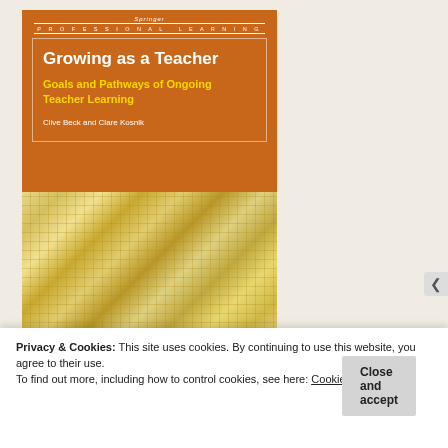[Figure (illustration): Book cover for 'Growing as a Teacher: Goals and Pathways of Ongoing Teacher Learning' by Clive Beck and Clare Kosnik. Orange upper half with white title box, lower half with golden/yellow mosaic pattern. Published in the Springer Professional Learning series.]
Privacy & Cookies: This site uses cookies. By continuing to use this website, you agree to their use.
To find out more, including how to control cookies, see here: Cookie Policy
Close and accept